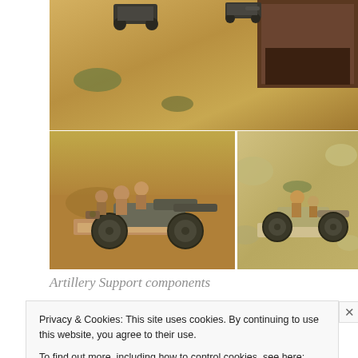[Figure (photo): Top photo showing miniature military vehicles and artillery pieces on a sandy terrain gaming table]
[Figure (photo): Bottom-left photo showing a close-up of a miniature artillery piece with crew figures on a sandy base]
[Figure (photo): Bottom-right photo showing a close-up of a miniature artillery cannon with crew figure on a rocky terrain base]
Artillery Support components
Privacy & Cookies: This site uses cookies. By continuing to use this website, you agree to their use.
To find out more, including how to control cookies, see here: Cookie Policy